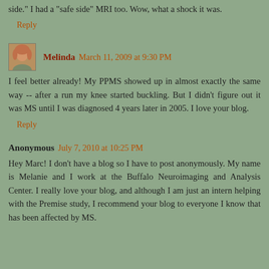side." I had a "safe side" MRI too. Wow, what a shock it was.
Reply
Melinda  March 11, 2009 at 9:30 PM
I feel better already! My PPMS showed up in almost exactly the same way -- after a run my knee started buckling. But I didn't figure out it was MS until I was diagnosed 4 years later in 2005. I love your blog.
Reply
Anonymous  July 7, 2010 at 10:25 PM
Hey Marc! I don't have a blog so I have to post anonymously. My name is Melanie and I work at the Buffalo Neuroimaging and Analysis Center. I really love your blog, and although I am just an intern helping with the Premise study, I recommend your blog to everyone I know that has been affected by MS.